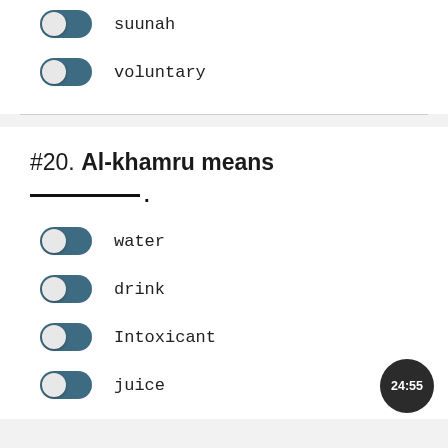suunah
voluntary
#20. Al-khamru means __________.
water
drink
Intoxicant
juice
24:55